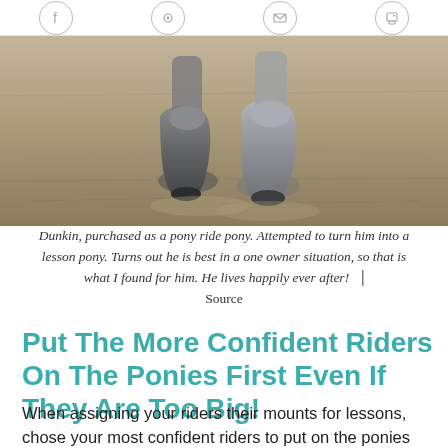Social sharing icons (Facebook, Pinterest, Email, Print)
[Figure (photo): Close-up photo of horse hooves on sandy/dirt ground]
Dunkin, purchased as a pony ride pony. Attempted to turn him into a lesson pony. Turns out he is best in a one owner situation, so that is what I found for him. He lives happily ever after! | Source
Put The More Confident Riders On The Ponies First Even If They Are Too Big!
When assigning your riders their mounts for lessons, chose your most confident riders to put on the ponies whenever possible. Even if they are a little big for them. That way the